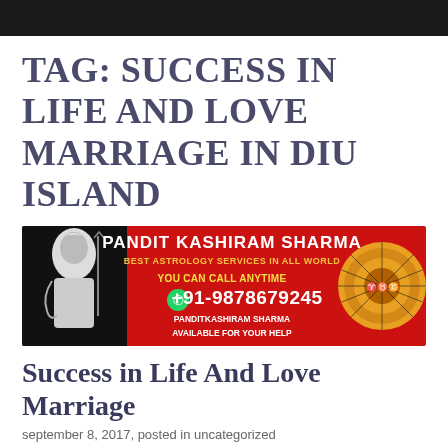TAG: SUCCESS IN LIFE AND LOVE MARRIAGE IN DIU ISLAND
[Figure (illustration): Red banner advertisement for Pandit Kashiram Sharma astrology services. Features an image of Lord Shiva on the left, zodiac wheel on the right, WhatsApp logo, phone number +91-9878679245, and text: PANDIT KASHIRAM SHARMA, BEST ASTROLOGY SERVICES IN ALL WORLD, YOU CAN CALL ANYTIME, PANDITKASHIRAM SHARMA AVAILABLE FOR YOUR HELP]
Success in Life And Love Marriage
september 8, 2017, posted in uncategorized